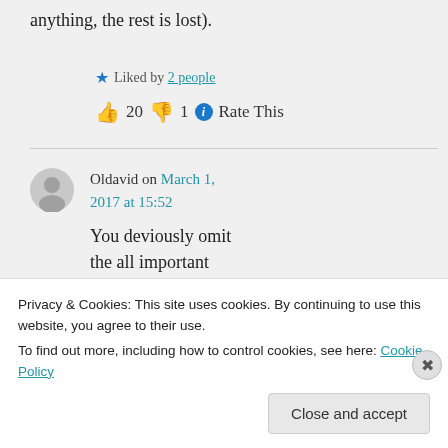anything, the rest is lost).
★ Liked by 2 people
👍 20 👎 1 ℹ Rate This
Oldavid on March 1, 2017 at 15:52
You deviously omit the all important ingredient: life
Privacy & Cookies: This site uses cookies. By continuing to use this website, you agree to their use.
To find out more, including how to control cookies, see here: Cookie Policy